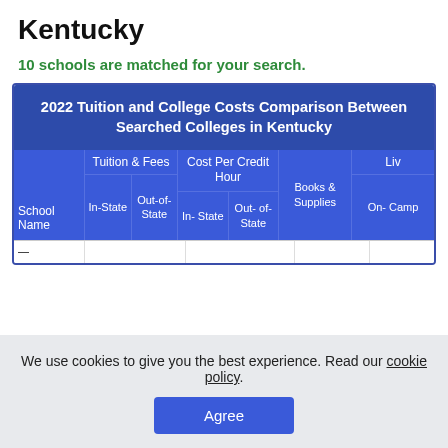Kentucky
10 schools are matched for your search.
| School Name | Tuition & Fees In-State | Tuition & Fees Out-of-State | Cost Per Credit Hour In-State | Cost Per Credit Hour Out-of-State | Books & Supplies | Living On-Campus |
| --- | --- | --- | --- | --- | --- | --- |
| — |  |  |  |  |  |  |
We use cookies to give you the best experience. Read our cookie policy.